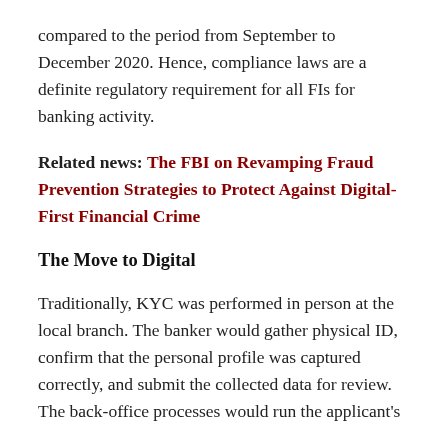compared to the period from September to December 2020. Hence, compliance laws are a definite regulatory requirement for all FIs for banking activity.
Related news: The FBI on Revamping Fraud Prevention Strategies to Protect Against Digital-First Financial Crime
The Move to Digital
Traditionally, KYC was performed in person at the local branch. The banker would gather physical ID, confirm that the personal profile was captured correctly, and submit the collected data for review. The back-office processes would run the applicant's